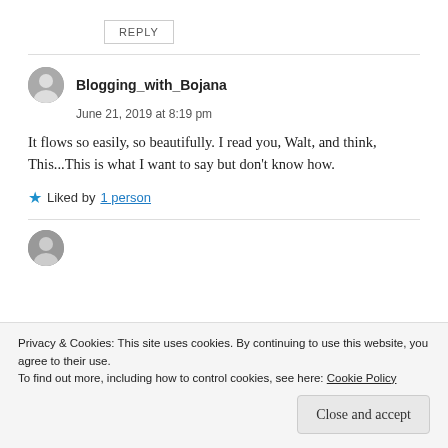REPLY
Blogging_with_Bojana
June 21, 2019 at 8:19 pm
It flows so easily, so beautifully. I read you, Walt, and think, This...This is what I want to say but don't know how.
Liked by 1 person
Privacy & Cookies: This site uses cookies. By continuing to use this website, you agree to their use. To find out more, including how to control cookies, see here: Cookie Policy
Close and accept
Liked by 1 person